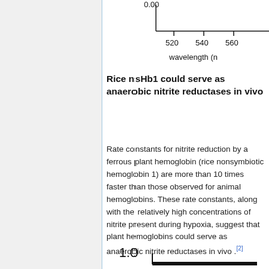[Figure (continuous-plot): Top portion of a spectral absorption chart showing wavelength (nm) on x-axis (520, 540, 560 visible) and absorption on y-axis (0.00 visible at top). Partial view cropped at top of page.]
Rice nsHb1 could serve as anaerobic nitrite reductases in vivo
Rate constants for nitrite reduction by a ferrous plant hemoglobin (rice nonsymbiotic hemoglobin 1) are more than 10 times faster than those observed for animal hemoglobins. These rate constants, along with the relatively high concentrations of nitrite present during hypoxia, suggest that plant hemoglobins could serve as anaerobic nitrite reductases in vivo .[2]
[Figure (continuous-plot): Bottom portion of a chart showing value 1.0 on y-axis, with a thick black baseline visible. Partial view cropped at bottom of page.]